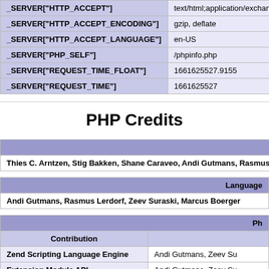| Key | Value |
| --- | --- |
| _SERVER["HTTP_ACCEPT"] | text/html;application/exchange;v=b3;q=0. |
| _SERVER["HTTP_ACCEPT_ENCODING"] | gzip, deflate |
| _SERVER["HTTP_ACCEPT_LANGUAGE"] | en-US |
| _SERVER["PHP_SELF"] | /phpinfo.php |
| _SERVER["REQUEST_TIME_FLOAT"] | 1661625527.9155 |
| _SERVER["REQUEST_TIME"] | 1661625527 |
PHP Credits
| PHP Authors |
| --- |
| Thies C. Arntzen, Stig Bakken, Shane Caraveo, Andi Gutmans, Rasmus Lerd... |
| Language Design & Concept |
| --- |
| Andi Gutmans, Rasmus Lerdorf, Zeev Suraski, Marcus Boerger |
| PHP Authors | Contribution | Authors |
| --- | --- | --- |
| Zend Scripting Language Engine | Andi Gutmans, Zeev Su... |
| Extension Module API | Andi Gutmans, Zeev Su... |
| UNIX Build and Modularization | Stig Bakken, Sascha... |